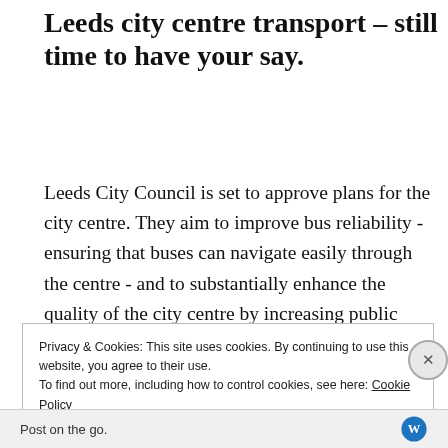£234 million plan to transform Leeds city centre transport – still time to have your say.
Leeds City Council is set to approve plans for the city centre. They aim to improve bus reliability - ensuring that buses can navigate easily through the centre - and to substantially enhance the quality of the city centre by increasing public space, and improving
Privacy & Cookies: This site uses cookies. By continuing to use this website, you agree to their use.
To find out more, including how to control cookies, see here: Cookie Policy
Post on the go.